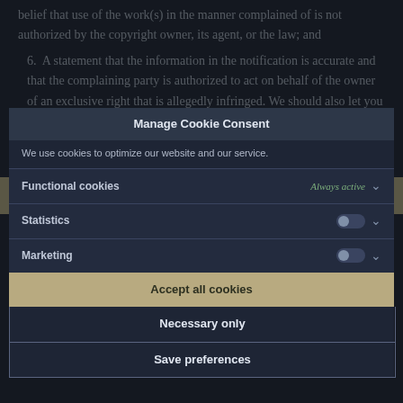belief that use of the work(s) in the manner complained of is not authorized by the copyright owner, its agent, or the law; and
6. A statement that the information in the notification is accurate and that the complaining party is authorized to act on behalf of the owner of an exclusive right that is allegedly infringed. We should also let you know that Deadeye Games B.V. has a policy to terminate in appropriate circumstances the accounts of subscribers who are repeat infringers.
7. A statement that you are the owner of the exclusive right that is allegedly infringed, or an authorized agent for the rights holder.
8. A statement that you understand that your contact information and content will be passed to the alleged infringing party, and retained as long as required for legal purposes.
[Figure (screenshot): Cookie consent modal overlay with sections: Manage Cookie Consent header, introductory text about cookies, Functional cookies row (Always active), Statistics row (toggle off), Marketing row (toggle off), Accept all cookies button, Necessary only button, Save preferences button.]